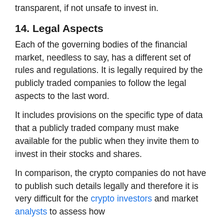transparent, if not unsafe to invest in.
14. Legal Aspects
Each of the governing bodies of the financial market, needless to say, has a different set of rules and regulations. It is legally required by the publicly traded companies to follow the legal aspects to the last word.
It includes provisions on the specific type of data that a publicly traded company must make available for the public when they invite them to invest in their stocks and shares.
In comparison, the crypto companies do not have to publish such details legally and therefore it is very difficult for the crypto investors and market analysts to assess how